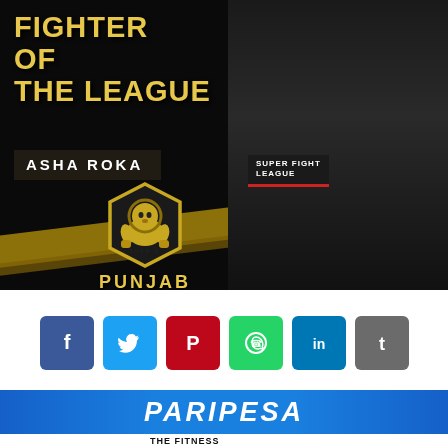[Figure (photo): Promotional banner for Super Fight League Fighter of the League — Asha Roka of Sher-E-Punjab. Dark background with gold diagonal stripes, fighter in boxing stance wearing Super Fight League jersey, Sher-E-Punjab lion logo on left.]
FIGHTER OF THE LEAGUE
ASHA ROKA
[Figure (logo): Sher-E-Punjab logo: lion mascot with SHER-E-PUNJAB text in gold]
[Figure (infographic): Social share buttons: Facebook, Twitter, Pinterest, WhatsApp, LinkedIn, Tumblr]
[Figure (logo): PARIPESA banner advertisement in blue with white italic bold text]
THE FITNESS